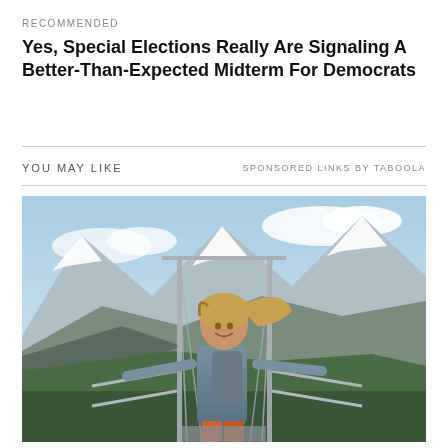RECOMMENDED
Yes, Special Elections Really Are Signaling A Better-Than-Expected Midterm For Democrats
YOU MAY LIKE
SPONSORED LINKS BY TABOOLA
[Figure (photo): A smiling young woman with long blonde hair standing on a suspended bridge with arms outstretched, wearing a grey jacket and backpack, with snow-capped mountains in the background.]